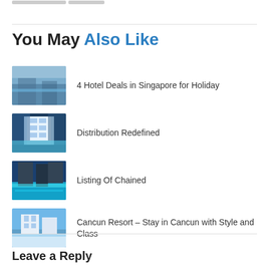You May Also Like
4 Hotel Deals in Singapore for Holiday
Distribution Redefined
Listing Of Chained
Cancun Resort – Stay in Cancun with Style and Class